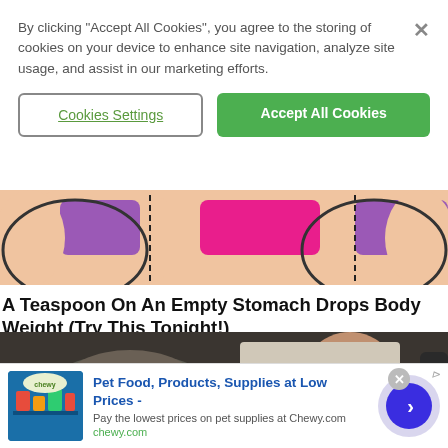By clicking “Accept All Cookies”, you agree to the storing of cookies on your device to enhance site navigation, analyze site usage, and assist in our marketing efforts.
Cookies Settings
Accept All Cookies
[Figure (illustration): Partial view of illustrated/cartoon figures wearing colorful bikinis in pink and purple, cropped at waist level]
A Teaspoon On An Empty Stomach Drops Body Weight (Try This Tonight!)
trendingnewfinds.com
[Figure (photo): Two people on what appears to be a subway or train: a woman wearing a gray baseball cap on the left and a man on the right with eyes closed]
Pet Food, Products, Supplies at Low Prices -
Pay the lowest prices on pet supplies at Chewy.com
chewy.com